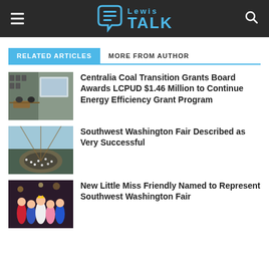Lewis TALK
RELATED ARTICLES | MORE FROM AUTHOR
[Figure (photo): Meeting room with people seated at tables watching a presentation on a screen]
Centralia Coal Transition Grants Board Awards LCPUD $1.46 Million to Continue Energy Efficiency Grant Program
[Figure (photo): Outdoor fair venue viewed from above, crowd of people in an outdoor amphitheater]
Southwest Washington Fair Described as Very Successful
[Figure (photo): Group of young girls in costumes posing for a photo indoors]
New Little Miss Friendly Named to Represent Southwest Washington Fair